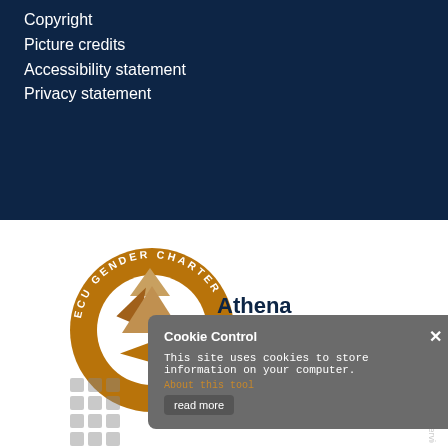Copyright
Picture credits
Accessibility statement
Privacy statement
[Figure (logo): Athena SWAN ECU Gender Charter Bronze Award logo — circular bronze ring with text 'ECU GENDER CHARTER' around it, containing recycling-style arrows in bronze/copper color, with 'Athena SWAN Bronze Award' text in dark navy and gold]
[Figure (screenshot): Cookie Control popup box in grey with title 'Cookie Control', close X button, text 'This site uses cookies to store information on your computer.', 'About this tool' link in orange, and 'read more' button]
powered by
OXFORD MOSAIC
[Figure (logo): Oxford Mosaic grid dots logo in grey]
[Figure (logo): iT services logo in grey italic style]